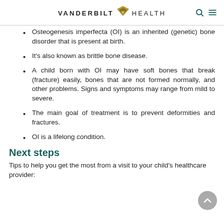VANDERBILT HEALTH
Osteogenesis imperfecta (OI) is an inherited (genetic) bone disorder that is present at birth.
It's also known as brittle bone disease.
A child born with OI may have soft bones that break (fracture) easily, bones that are not formed normally, and other problems. Signs and symptoms may range from mild to severe.
The main goal of treatment is to prevent deformities and fractures.
OI is a lifelong condition.
Next steps
Tips to help you get the most from a visit to your child's healthcare provider: